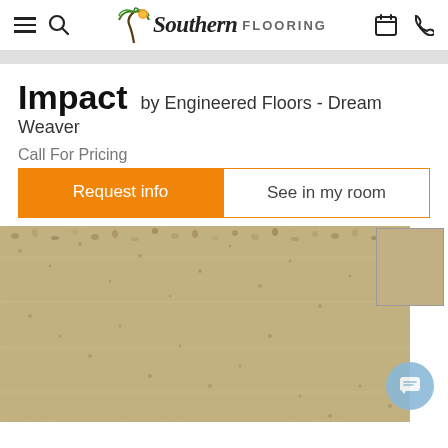Southern Flooring — navigation header with hamburger menu, search, logo, calendar, and phone icons
Impact by Engineered Floors - Dream Weaver
Call For Pricing
Request info | See in my room
[Figure (photo): Close-up photo of a beige/tan textured carpet (Impact by Engineered Floors - Dream Weaver), with a small color swatch thumbnail in the top-right corner and a light-blue chat button in the bottom-right.]